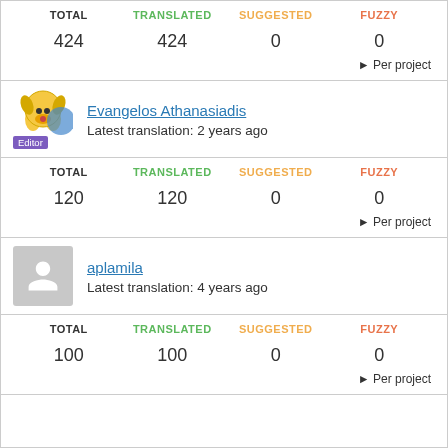| TOTAL | TRANSLATED | SUGGESTED | FUZZY |
| --- | --- | --- | --- |
| 424 | 424 | 0 | 0 |
▶ Per project
Evangelos Athanasiadis
Latest translation: 2 years ago
Editor
| TOTAL | TRANSLATED | SUGGESTED | FUZZY |
| --- | --- | --- | --- |
| 120 | 120 | 0 | 0 |
▶ Per project
aplamila
Latest translation: 4 years ago
| TOTAL | TRANSLATED | SUGGESTED | FUZZY |
| --- | --- | --- | --- |
| 100 | 100 | 0 | 0 |
▶ Per project